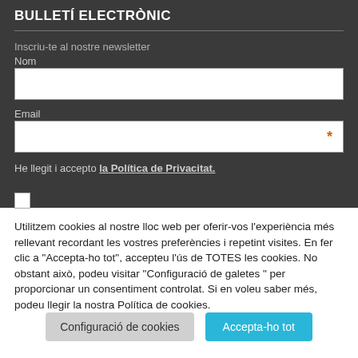BULLETÍ ELECTRÒNIC
Inscriu-te al nostre newsletter
Nom
Email
He llegit i accepto la Política de Privacitat.
Utilitzem cookies al nostre lloc web per oferir-vos l'experiència més rellevant recordant les vostres preferències i repetint visites. En fer clic a "Accepta-ho tot", accepteu l'ús de TOTES les cookies. No obstant això, podeu visitar "Configuració de galetes " per proporcionar un consentiment controlat. Si en voleu saber més, podeu llegir la nostra Política de cookies.
Configuració de cookies
Accepta-ho tot